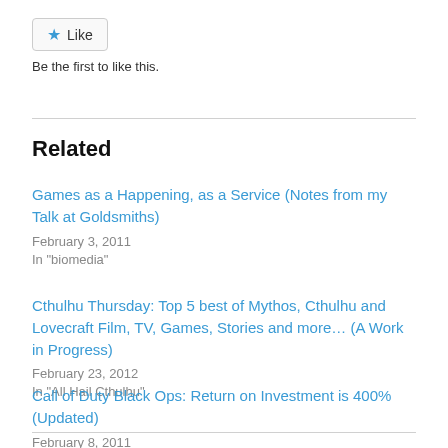[Figure (other): Like button with blue star icon and 'Like' text]
Be the first to like this.
Related
Games as a Happening, as a Service (Notes from my Talk at Goldsmiths)
February 3, 2011
In "biomedia"
Cthulhu Thursday: Top 5 best of Mythos, Cthulhu and Lovecraft Film, TV, Games, Stories and more… (A Work in Progress)
February 23, 2012
In "All Hail Cthulhu"
Call of Duty Black Ops: Return on Investment is 400% (Updated)
February 8, 2011
In "stats of games and gaming"